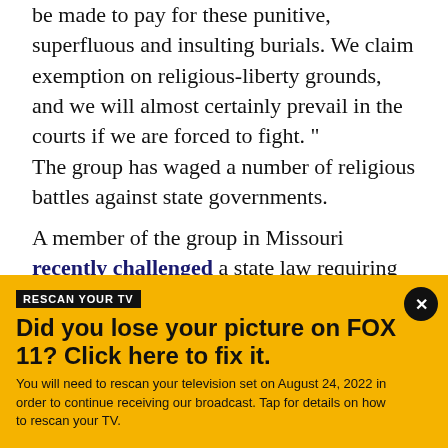be made to pay for these punitive, superfluous and insulting burials. We claim exemption on religious-liberty grounds, and we will almost certainly prevail in the courts if we are forced to fight. " The group has waged a number of religious battles against state governments.

A member of the group in Missouri recently challenged a state law requiring women seeking an abortion to wait three days. It unsuccessfully fought to have a statue of a goat-headed, winged creature called
RESCAN YOUR TV
Did you lose your picture on FOX 11? Click here to fix it.
You will need to rescan your television set on August 24, 2022 in order to continue receiving our broadcast. Tap for details on how to rescan your TV.